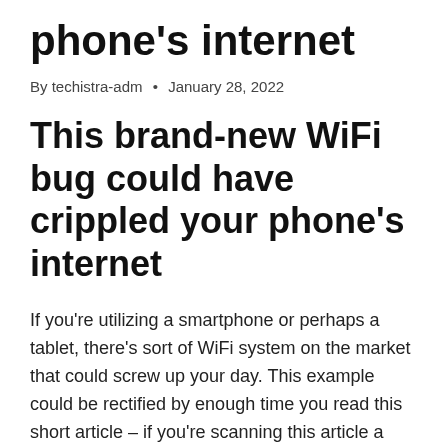phone's internet
By techistra-adm • January 28, 2022
This brand-new WiFi bug could have crippled your phone's internet
If you're utilizing a smartphone or perhaps a tablet, there's sort of WiFi system on the market that could screw up your day. This example could be rectified by enough time you read this short article – if you're scanning this article a couple of months in to the future – but also for now, it's time and